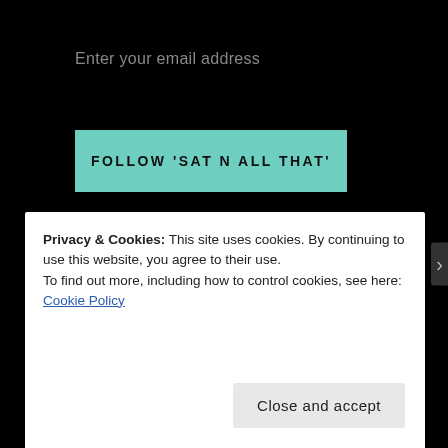Enter your email address
FOLLOW 'SAT N ALL THAT'
Join 1,108 other followers
ARCHIVES
October 2017
Privacy & Cookies: This site uses cookies. By continuing to use this website, you agree to their use.
To find out more, including how to control cookies, see here: Cookie Policy
Close and accept